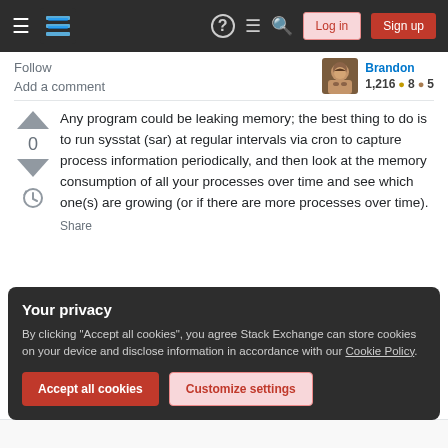Stack Exchange navigation bar with Log in and Sign up buttons
Follow
Add a comment
Brandon 1,216 ● 8 ● 5
Any program could be leaking memory; the best thing to do is to run sysstat (sar) at regular intervals via cron to capture process information periodically, and then look at the memory consumption of all your processes over time and see which one(s) are growing (or if there are more processes over time).
Your privacy
By clicking "Accept all cookies", you agree Stack Exchange can store cookies on your device and disclose information in accordance with our Cookie Policy.
Accept all cookies  Customize settings